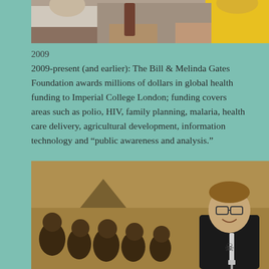[Figure (photo): Top cropped photo showing people sitting at a table, partial view of torsos and hands]
2009
2009-present (and earlier): The Bill & Melinda Gates Foundation awards millions of dollars in global health funding to Imperial College London; funding covers areas such as polio, HIV, family planning, malaria, health care delivery, agricultural development, information technology and “public awareness and analysis.”
[Figure (photo): Photo showing a person (resembling Bill Gates) with children in what appears to be an African village setting, holding a syringe]